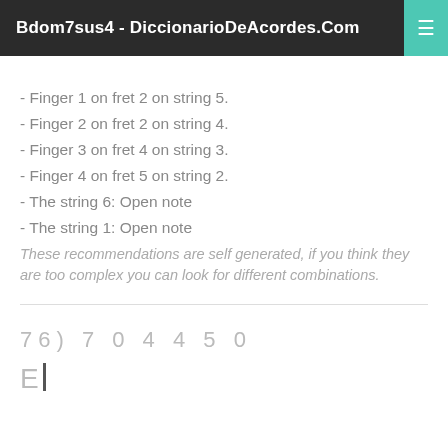Bdom7sus4 - DiccionarioDeAcordes.Com
- Finger 1 on fret 2 on string 5.
- Finger 2 on fret 2 on string 4.
- Finger 3 on fret 4 on string 3.
- Finger 4 on fret 5 on string 2.
- The string 6: Open note
- The string 1: Open note
These recommendations are self generated, if you think they are too complex you can look for different combinations.
76) 7 0 4 4 5 0